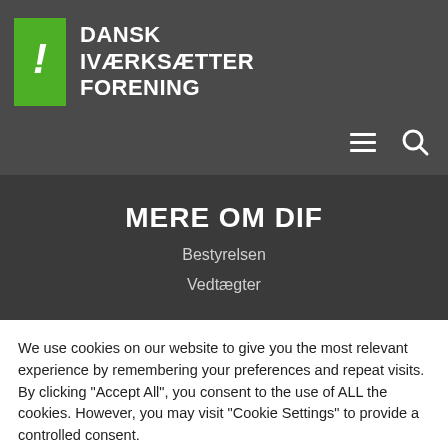[Figure (logo): Dansk Iværksætter Forening logo with green exclamation mark icon and white bold text on dark gray background]
MERE OM DIF
Bestyrelsen
Vedtægter
We use cookies on our website to give you the most relevant experience by remembering your preferences and repeat visits. By clicking "Accept All", you consent to the use of ALL the cookies. However, you may visit "Cookie Settings" to provide a controlled consent.
Cookie Settings
Accept All